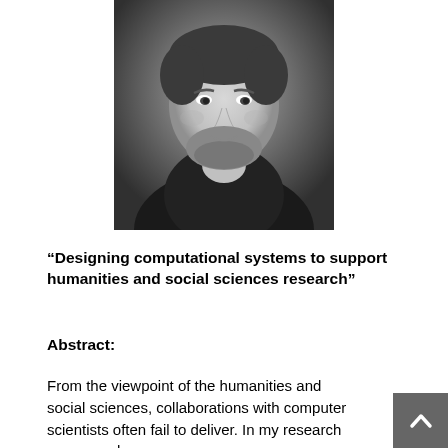[Figure (photo): Black and white headshot photo of a bearded man smiling slightly, wearing a dark shirt]
“Designing computational systems to support humanities and social sciences research”
Abstract:
From the viewpoint of the humanities and social sciences, collaborations with computer scientists often fail to deliver. In my research group, we have